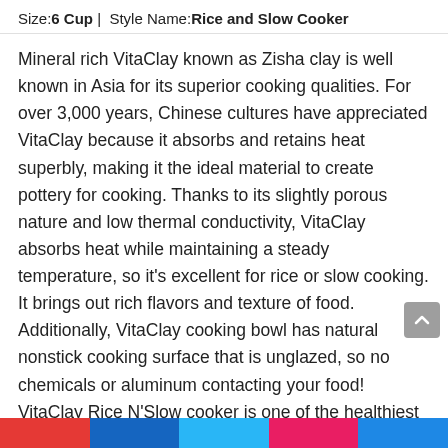Size: 6 Cup | Style Name: Rice and Slow Cooker
Mineral rich VitaClay known as Zisha clay is well known in Asia for its superior cooking qualities. For over 3,000 years, Chinese cultures have appreciated VitaClay because it absorbs and retains heat superbly, making it the ideal material to create pottery for cooking. Thanks to its slightly porous nature and low thermal conductivity, VitaClay absorbs heat while maintaining a steady temperature, so it’s excellent for rice or slow cooking. It brings out rich flavors and texture of food. Additionally, VitaClay cooking bowl has natural nonstick cooking surface that is unglazed, so no chemicals or aluminum contacting your food! VitaClay Rice N’Slow cooker is one of the healthiest ways to cook rice or prepare a meal. By stewing foods rather than sautéing or frying, you can cook dishes that are low in fat and cholesterol.